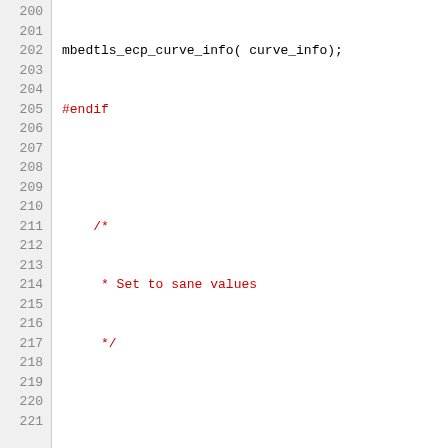[Figure (screenshot): Source code listing showing lines 200-221 of a C program using mbedTLS library functions, with syntax highlighting. Lines shown include #endif, comment block, mbedtls_mpi_init and mbedtls_pk_init calls, memset, if statement, usage label, mbedtls_printf, #if defined preprocessor directive, and curve_info assignment.]